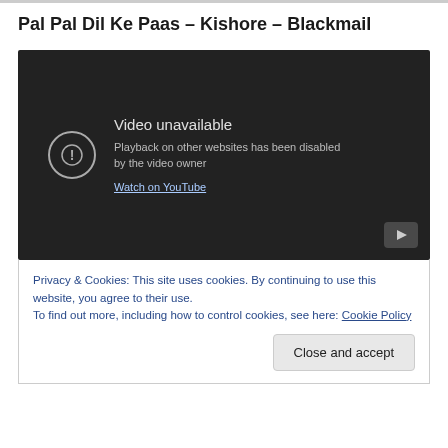Pal Pal Dil Ke Paas – Kishore – Blackmail
[Figure (screenshot): Embedded YouTube video player showing 'Video unavailable' error. Message reads: 'Playback on other websites has been disabled by the video owner'. A 'Watch on YouTube' link is shown. A play button icon appears in the bottom right corner.]
Privacy & Cookies: This site uses cookies. By continuing to use this website, you agree to their use.
To find out more, including how to control cookies, see here: Cookie Policy
Close and accept